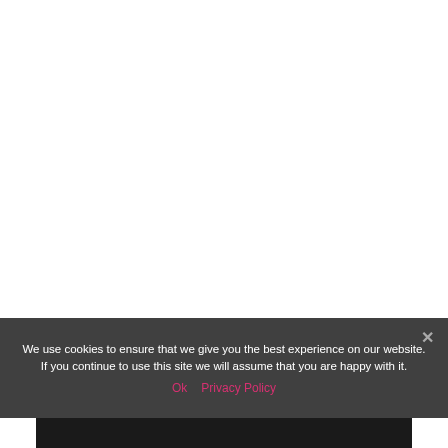We use cookies to ensure that we give you the best experience on our website. If you continue to use this site we will assume that you are happy with it.
Ok   Privacy Policy